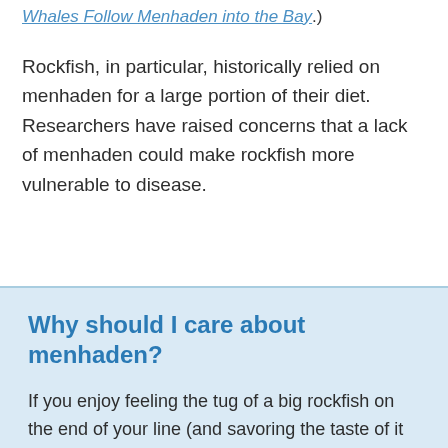Whales Follow Menhaden into the Bay.)
Rockfish, in particular, historically relied on menhaden for a large portion of their diet. Researchers have raised concerns that a lack of menhaden could make rockfish more vulnerable to disease.
Why should I care about menhaden?
If you enjoy feeling the tug of a big rockfish on the end of your line (and savoring the taste of it at dinner), or